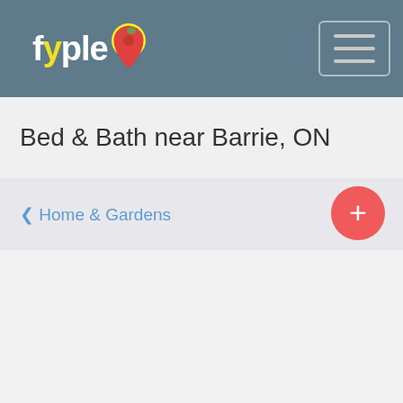fyple — Bed & Bath near Barrie, ON
Bed & Bath near Barrie, ON
‹ Home & Gardens
[Figure (other): Red circular FAB button with white plus sign]